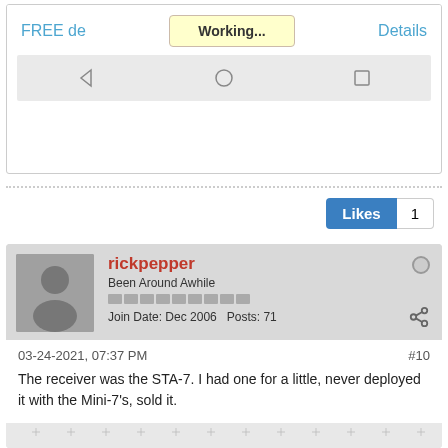[Figure (screenshot): Mobile phone UI showing 'FREE de...' and 'Details' text with a 'Working...' yellow button overlay, and a navigation bar with back, home, and square icons.]
Likes 1
rickpepper
Been Around Awhile
Join Date: Dec 2006  Posts: 71
03-24-2021, 07:37 PM  #10
The receiver was the STA-7. I had one for a little, never deployed it with the Mini-7's, sold it.
[Figure (photo): A photo showing what appears to be a grid-patterned surface with some equipment, partially visible at the bottom of the page.]